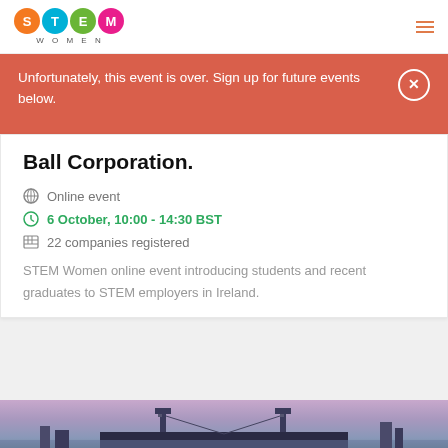[Figure (logo): STEM Women logo with four colored circles (orange S, blue T, green E, pink M) and WOMEN text below]
Unfortunately, this event is over. Sign up for future events below.
Ball Corporation.
Online event
6 October, 10:00 - 14:30 BST
22 companies registered
STEM Women online event introducing students and recent graduates to STEM employers in Ireland.
[Figure (photo): Tower Bridge London at dusk/sunset with pink and purple sky]